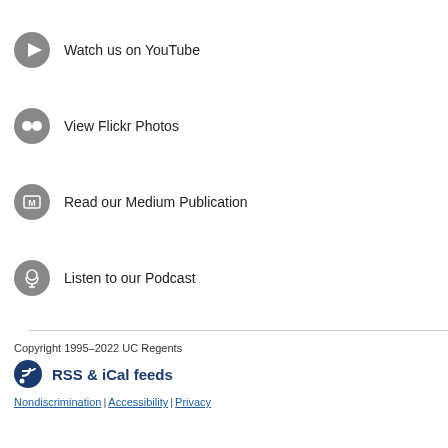Watch us on YouTube
View Flickr Photos
Read our Medium Publication
Listen to our Podcast
Copyright 1995–2022 UC Regents
RSS & iCal feeds
Nondiscrimination | Accessibility | Privacy